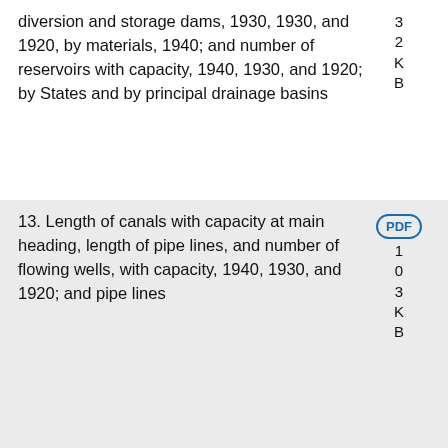diversion and storage dams, 1930, 1930, and 1920, by materials, 1940; and number of reservoirs with capacity, 1940, 1930, and 1920; by States and by principal drainage basins
2 K B
13. Length of canals with capacity at main heading, length of pipe lines, and number of flowing wells, with capacity, 1940, 1930, and 1920; and pipe lines
PDF 1 0 3 K B